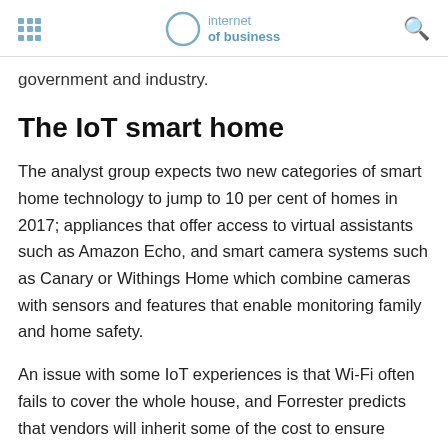internet of business
government and industry.
The IoT smart home
The analyst group expects two new categories of smart home technology to jump to 10 per cent of homes in 2017; appliances that offer access to virtual assistants such as Amazon Echo, and smart camera systems such as Canary or Withings Home which combine cameras with sensors and features that enable monitoring family and home safety.
An issue with some IoT experiences is that Wi-Fi often fails to cover the whole house, and Forrester predicts that vendors will inherit some of the cost to ensure